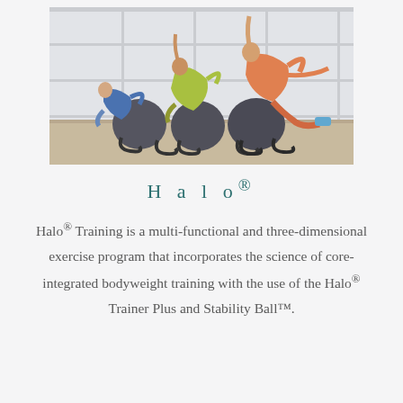[Figure (photo): Three people doing side plank exercises on stability balls with handles in a bright gym studio with large windows. They are wearing workout clothes – one in blue, one in yellow-green, one in coral/orange leggings.]
H a l o®
Halo® Training is a multi-functional and three-dimensional exercise program that incorporates the science of core-integrated bodyweight training with the use of the Halo® Trainer Plus and Stability Ball™.